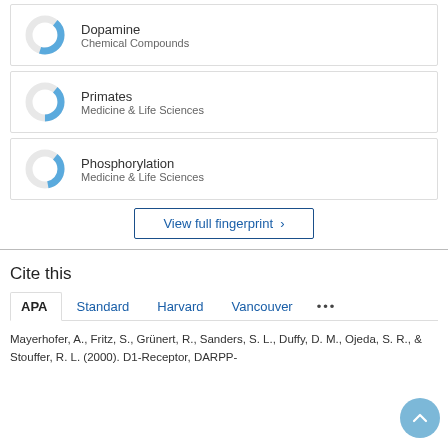[Figure (donut-chart): Donut chart for Dopamine, Chemical Compounds, approximately 43% filled in blue]
Dopamine
Chemical Compounds
[Figure (donut-chart): Donut chart for Primates, Medicine & Life Sciences, approximately 40% filled in blue]
Primates
Medicine & Life Sciences
[Figure (donut-chart): Donut chart for Phosphorylation, Medicine & Life Sciences, approximately 38% filled in blue]
Phosphorylation
Medicine & Life Sciences
View full fingerprint >
Cite this
APA   Standard   Harvard   Vancouver   ...
Mayerhofer, A., Fritz, S., Grünert, R., Sanders, S. L., Duffy, D. M., Ojeda, S. R., & Stouffer, R. L. (2000). D1-Receptor, DARPP-